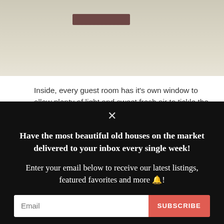[Figure (photo): Partial photo of an outdoor sandy or pale ground area with a small dark rectangular object (possibly furniture) visible in the upper portion of the image.]
Inside, every guest room has it's own window to allow plenty of light and sweet fresh air to tickle the curtains. My favorite feature? The 3rd floor attic! It has a wood-planked barrel ceiling that screams “Fantastic!” and the possibilities for this space are endless!
Have the most beautiful old houses on the market delivered to your inbox every single week!
Enter your email below to receive our latest listings, featured favorites and more 🔔!